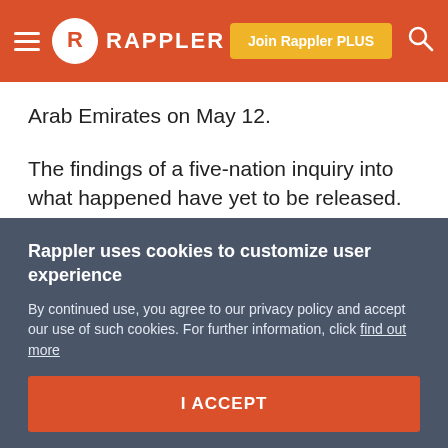RAPPLER — Join Rappler PLUS
Arab Emirates on May 12.
The findings of a five-nation inquiry into what happened have yet to be released.
Tehran dismissed Bolton's accusation as "laughable" and accused him of pursuing "evil desires for chaos in the region."
Iraq declines to sign
Rappler uses cookies to customize user experience
By continued use, you agree to our privacy policy and accept our use of such cookies. For further information, click find out more
I ACCEPT